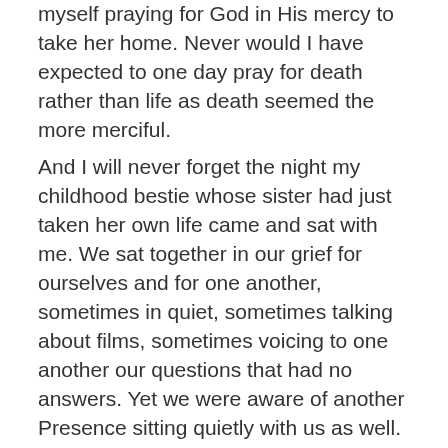myself praying for God in His mercy to take her home. Never would I have expected to one day pray for death rather than life as death seemed the more merciful.
And I will never forget the night my childhood bestie whose sister had just taken her own life came and sat with me. We sat together in our grief for ourselves and for one another, sometimes in quiet, sometimes talking about films, sometimes voicing to one another our questions that had no answers. Yet we were aware of another Presence sitting quietly with us as well. In His book Alain says, “In our pain and suffering God is not answering our questions, for we come to learn that they are beyond the objective explanations our rationalised minds crave. God reminds us, I AM, in the midst of the flames…God doesn’t give us answers. In the silence, He gives us Himself, bigger than our pain, beyond our explanations, closer than our breath.”